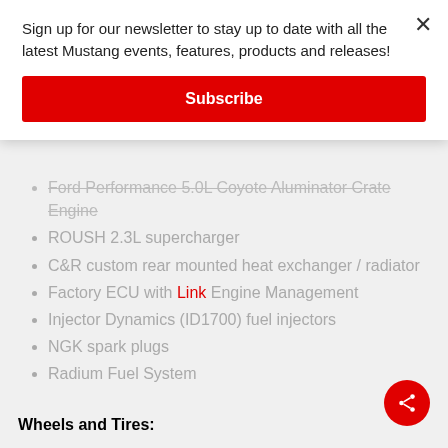Sign up for our newsletter to stay up to date with all the latest Mustang events, features, products and releases!
Subscribe
Ford Performance 5.0L Coyote Aluminator Crate Engine
ROUSH 2.3L supercharger
C&R custom rear mounted heat exchanger / radiator
Factory ECU with Link Engine Management
Injector Dynamics (ID1700) fuel injectors
NGK spark plugs
Radium Fuel System
Wheels and Tires: